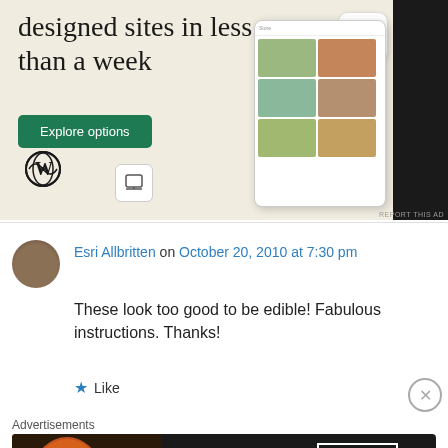[Figure (illustration): WordPress advertisement banner showing 'designed sites in less than a week' with Explore options button, WordPress logo, and mock website/phone screenshots on beige background]
Esri Allbritten on October 20, 2010 at 7:30 pm
These look too good to be edible! Fabulous instructions. Thanks!
Like
Advertisements
[Figure (illustration): Seamless food delivery advertisement on dark background with pizza image, seamless logo badge, and ORDER NOW button]